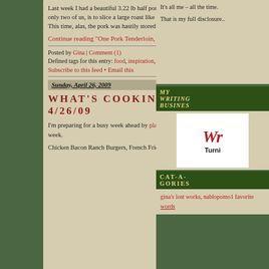Last week I had a beautiful 3.22 lb half pork tenderloin in the freezer. What I've done in the past, realizing that there are only two of us, is to slice a large roast like this in half and freeze one, thus minimizing the one-time 'pork commitment.' This time, alas, the pork was hastily stored away in the freezer without prior portion consideration on my part.
Continue reading "One Pork Tenderloin, Four Recipes" »
Posted by Gina | Comment (1)
Defined tags for this entry: food, inspiration, list
Subscribe to this feed • Email this
Sunday, April 26, 2009
WHAT'S COOKIN'? 4/26/09
I'm preparing for a busy week ahead by planning our meals for the week in advance. Here's what I'll be cooking up this week.
Chicken Bacon Ranch Burgers, French Fries
It's all me – all the time.

That is my full disclosure..
MY WRITING BUSINESS
[Figure (screenshot): Writing business logo/banner showing italic red 'Wr' and bold 'Turni' text on white background]
CAT-A-GORIES
gina's lost works, nablopomo1 favorite words